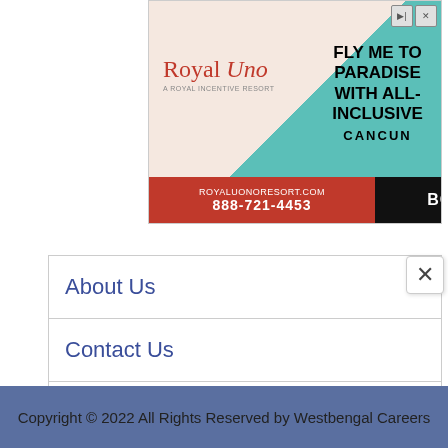[Figure (screenshot): Advertisement banner for Royal Uno resort in Cancun showing 'Fly Me to Paradise With All-Inclusive Cancun' text, beach background, logo, phone number 888-721-4453, website royaluonoresort.com, and Book Now button.]
About Us
Contact Us
Disclaimer
Privacy Policy
Copyright © 2022 All Rights Reserved by Westbengal Careers